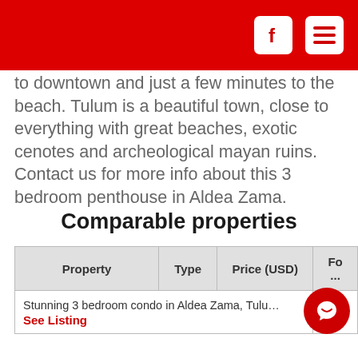[Facebook icon] [Menu icon]
to downtown and just a few minutes to the beach. Tulum is a beautiful town, close to everything with great beaches, exotic cenotes and archeological mayan ruins. Contact us for more info about this 3 bedroom penthouse in Aldea Zama.
Comparable properties
| Property | Type | Price (USD) | Fo... |
| --- | --- | --- | --- |
| Stunning 3 bedroom condo in Aldea Zama, Tulu... See Listing |  |  |  |